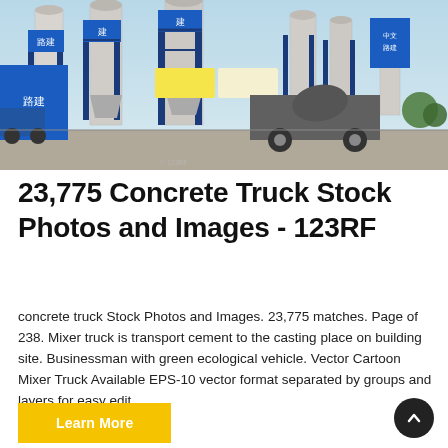[Figure (photo): Photograph of a concrete batching plant with blue and white silos and towers, Chinese signage, and a cement mixer truck, at an industrial site.]
23,775 Concrete Truck Stock Photos and Images - 123RF
concrete truck Stock Photos and Images. 23,775 matches. Page of 238. Mixer truck is transport cement to the casting place on building site. Businessman with green ecological vehicle. Vector Cartoon Mixer Truck Available EPS-10 vector format separated by groups and layers for easy edit.